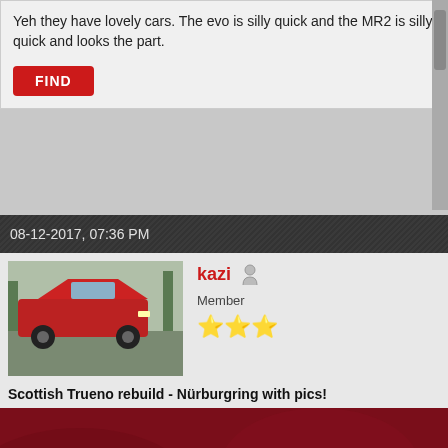Yeh they have lovely cars. The evo is silly quick and the MR2 is silly quick and looks the part.
[Figure (other): Red FIND button]
08-12-2017, 07:36 PM
[Figure (photo): Avatar photo of a red car parked in a lot]
kazi Member ★★★
Scottish Trueno rebuild - Nürburgring with pics!
[Figure (photo): Large dark red/maroon photo, likely car interior or body panel]